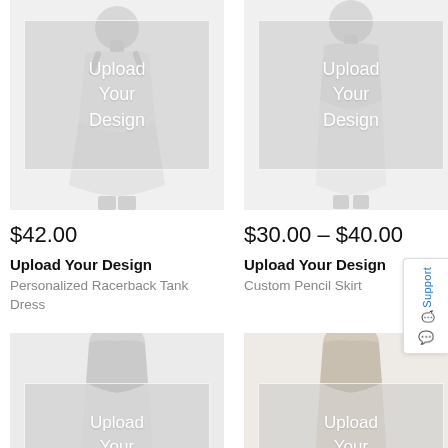[Figure (photo): Mannequin wearing white racerback tank dress with 'Upload Your Design' overlay placeholder]
$42.00
Upload Your Design
Personalized Racerback Tank Dress
[Figure (photo): Mannequin wearing white pencil skirt with 'Upload Your Design' overlay placeholder]
$30.00 – $40.00
Upload Your Design
Custom Pencil Skirt
[Figure (photo): Mannequin wearing white skirt with 'Upload Your' overlay placeholder (partial)]
[Figure (photo): Mannequin wearing beige/white skirt with 'Upload Your' overlay placeholder (partial)]